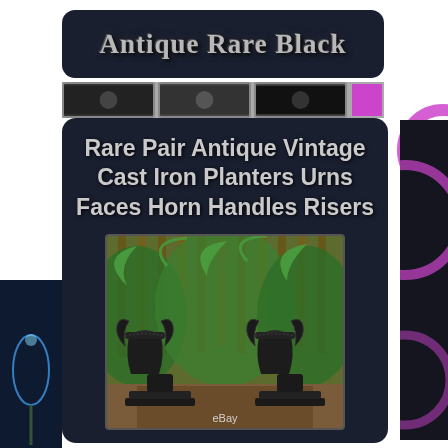Antique Rare Black
Rare Pair Antique Vintage Cast Iron Planters Urns Faces Horn Handles Risers
[Figure (photo): Two black antique cast iron planter urns with horn handles and stepped risers, set in a garden with lush green ferns. eBay watermark at bottom.]